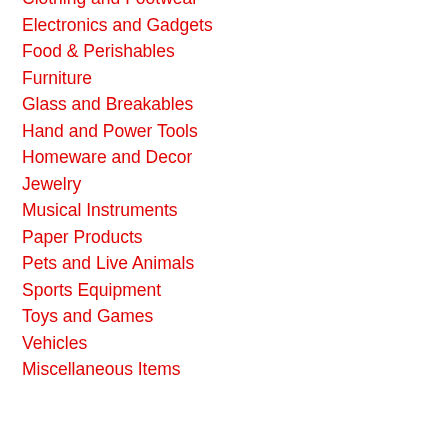Clothing and Footwear
Electronics and Gadgets
Food & Perishables
Furniture
Glass and Breakables
Hand and Power Tools
Homeware and Decor
Jewelry
Musical Instruments
Paper Products
Pets and Live Animals
Sports Equipment
Toys and Games
Vehicles
Miscellaneous Items